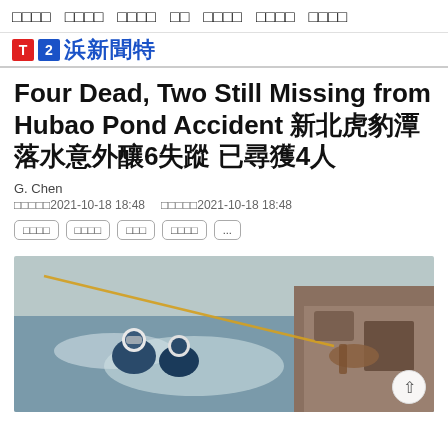□□□□  □□□□  □□□□  □□  □□□□  □□□□  □□□□
Four Dead, Two Still Missing from Hubao Pond Accident 新北虎豹潭落水意外釀6失蹤 已尋獲4人
G. Chen
□□□□□2021-10-18 18:48    □□□□□2021-10-18 18:48
□□□□  □□□□  □□□  □□□□  ...
[Figure (photo): Rescue divers in water near rocky outcrop, searching in a pond or river, with a rope visible. Related to the Hubao Pond accident search and rescue operation.]